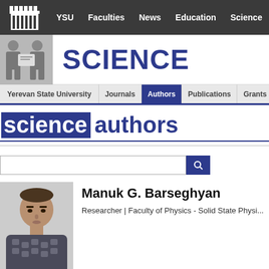YSU  Faculties  News  Education  Science  Stude...
SCIENCE
Yerevan State University | Journals | Authors | Publications | Grants | In...
science authors
Manuk G. Barseghyan
Researcher | Faculty of Physics - Solid State Physi...
Biography